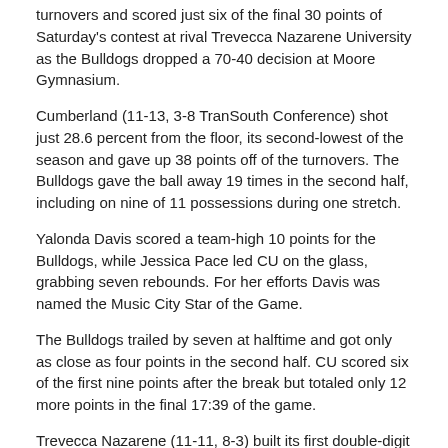turnovers and scored just six of the final 30 points of Saturday's contest at rival Trevecca Nazarene University as the Bulldogs dropped a 70-40 decision at Moore Gymnasium.
Cumberland (11-13, 3-8 TranSouth Conference) shot just 28.6 percent from the floor, its second-lowest of the season and gave up 38 points off of the turnovers. The Bulldogs gave the ball away 19 times in the second half, including on nine of 11 possessions during one stretch.
Yalonda Davis scored a team-high 10 points for the Bulldogs, while Jessica Pace led CU on the glass, grabbing seven rebounds. For her efforts Davis was named the Music City Star of the Game.
The Bulldogs trailed by seven at halftime and got only as close as four points in the second half. CU scored six of the first nine points after the break but totaled only 12 more points in the final 17:39 of the game.
Trevecca Nazarene (11-11, 8-3) built its first double-digit lead of the game over the next three minutes. From there the CU deficit was only single digits once, after a 3-pointer from Casie Cowan with 12:35 on the clock.